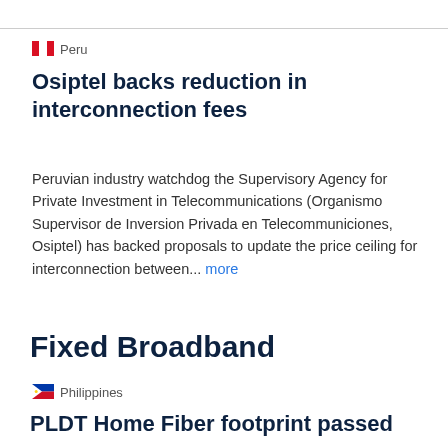Peru
Osiptel backs reduction in interconnection fees
Peruvian industry watchdog the Supervisory Agency for Private Investment in Telecommunications (Organismo Supervisor de Inversion Privada en Telecommuniciones, Osiptel) has backed proposals to update the price ceiling for interconnection between... more
Fixed Broadband
Philippines
PLDT Home Fiber footprint passed